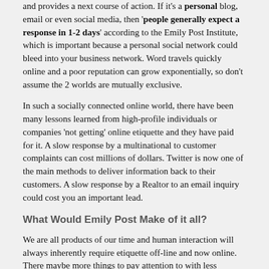and provides a next course of action. If it's a personal blog, email or even social media, then 'people generally expect a response in 1-2 days' according to the Emily Post Institute, which is important because a personal social network could bleed into your business network. Word travels quickly online and a poor reputation can grow exponentially, so don't assume the 2 worlds are mutually exclusive.
In such a socially connected online world, there have been many lessons learned from high-profile individuals or companies 'not getting' online etiquette and they have paid for it. A slow response by a multinational to customer complaints can cost millions of dollars. Twitter is now one of the main methods to deliver information back to their customers. A slow response by a Realtor to an email inquiry could cost you an important lead.
What Would Emily Post Make of it all?
We are all products of our time and human interaction will always inherently require etiquette off-line and now online. There maybe more things to pay attention to with less attention, but if you still want to makes friends and influence